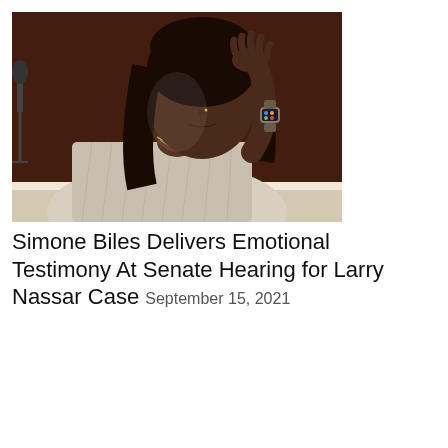[Figure (photo): Simone Biles, a Black woman with long dark hair, sits at a hearing table, head tilted down with one hand raised to her forehead, eyes closed, appearing emotional. She wears a light plaid blazer and layered gold necklaces, with an Apple Watch on her wrist. A microphone is visible to the left. The background is dark brown.]
Simone Biles Delivers Emotional Testimony At Senate Hearing for Larry Nassar Case September 15, 2021